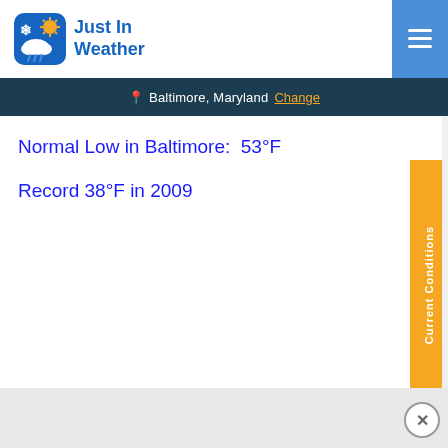[Figure (logo): Just In Weather logo with sun, snowflake, rain cloud icon and blue text reading 'Just In Weather']
Baltimore, Maryland  Change
Normal Low in Baltimore:  53°F
Record 38°F in 2009
[Figure (other): Orange vertical sidebar tab reading 'Current Conditions']